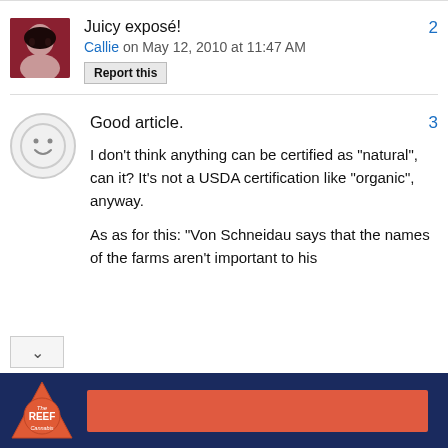Juicy exposé!
Callie on May 12, 2010 at 11:47 AM
Report this
2
Good article.
3
I don't think anything can be certified as "natural", can it? It's not a USDA certification like "organic", anyway.
As as for this: "Von Schneidau says that the names of the farms aren't important to his
[Figure (logo): The Reef Cannabis advertisement banner with orange-red rectangle]